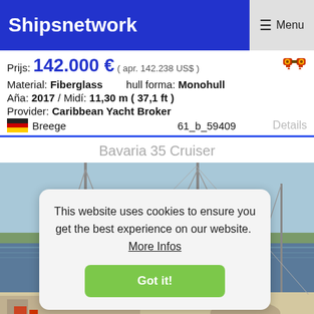Shipsnetwork   ☰ Menu
Prijs: 142.000 € ( apr. 142.238 US$ )
Material: Fiberglass   hull forma: Monohull
Aña: 2017 / Midí: 11,30 m ( 37,1 ft )
Provider: Caribbean Yacht Broker
🇩🇪 Breege   61_b_59409   Details
Bavaria 35 Cruiser
[Figure (photo): Sailboat Bavaria 35 Cruiser docked at marina with masts visible, blue sky and water in background]
This website uses cookies to ensure you get the best experience on our website. More Infos
Got it!